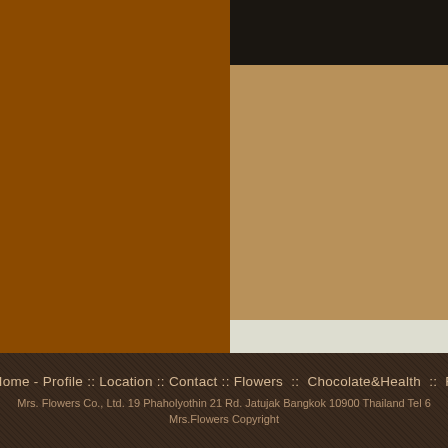[Figure (illustration): Website layout screenshot showing colored panels: large dark brown/amber panel on left, black panel top right, tan/caramel panel middle right, cream panel bottom right]
Home - Profile :: Location :: Contact :: Flowers :: Chocolate&Health :: R
Mrs. Flowers Co., Ltd. 19 Phaholyothin 21 Rd. Jatujak Bangkok 10900 Thailand Tel 6
Mrs.Flowers Copyright